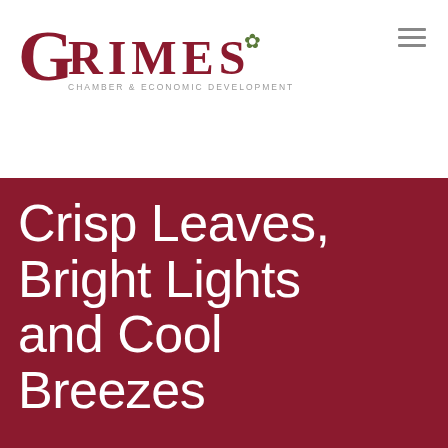[Figure (logo): Grimes Chamber & Economic Development logo — large dark red G followed by RIMES in bold serif uppercase with a green leaf flourish, subtitle text CHAMBER & ECONOMIC DEVELOPMENT in small gray capitals]
Crisp Leaves, Bright Lights and Cool Breezes